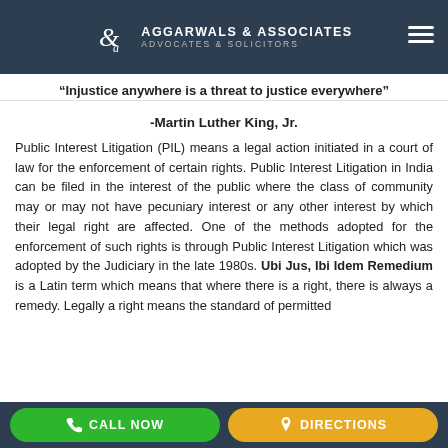AGGARWALS & ASSOCIATES ADVOCATES & SOLICITORS
“Injustice anywhere is a threat to justice everywhere”
-Martin Luther King, Jr.
Public Interest Litigation (PIL) means a legal action initiated in a court of law for the enforcement of certain rights. Public Interest Litigation in India can be filed in the interest of the public where the class of community may or may not have pecuniary interest or any other interest by which their legal right are affected. One of the methods adopted for the enforcement of such rights is through Public Interest Litigation which was adopted by the Judiciary in the late 1980s. Ubi Jus, Ibi Idem Remedium is a Latin term which means that where there is a right, there is always a remedy. Legally a right means the standard of permitted
CALL NOW   DIRECTIONS